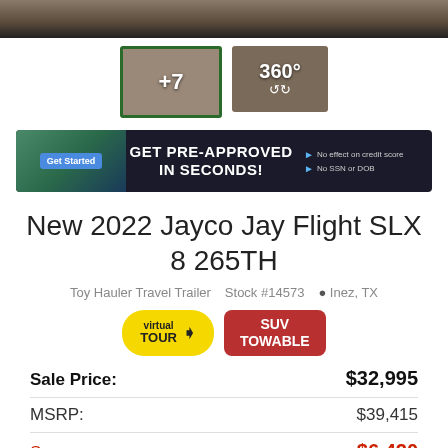[Figure (photo): Top image bar with outdoor/terrain background, dark overlay]
[Figure (photo): Two thumbnail images: first shows interior with +7 label and green border, second shows 360 degree view button]
[Figure (infographic): Ad banner: GET PRE-APPROVED IN SECONDS! with Get Started button and bullet points: No effect on credit score, No SSN or DOB]
New 2022 Jayco Jay Flight SLX 8 265TH
Toy Hauler Travel Trailer  Stock #14573  Inez, TX
[Figure (infographic): virtual TOUR badge (yellow oval) and SUV TOWABLE badge (red rounded rectangle)]
| Label | Value |
| --- | --- |
| Sale Price: | $32,995 |
| MSRP: | $39,415 |
| Save: | $6,420 |